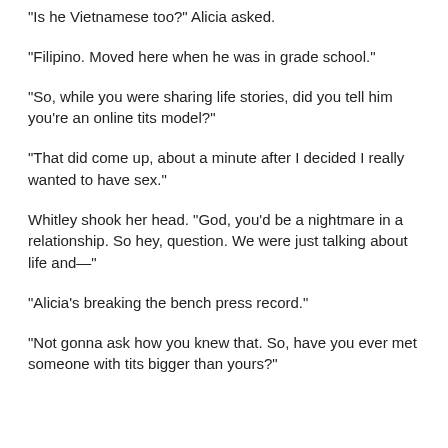"Is he Vietnamese too?" Alicia asked.
"Filipino. Moved here when he was in grade school."
"So, while you were sharing life stories, did you tell him you're an online tits model?"
"That did come up, about a minute after I decided I really wanted to have sex."
Whitley shook her head. "God, you'd be a nightmare in a relationship. So hey, question. We were just talking about life and—"
"Alicia's breaking the bench press record."
"Not gonna ask how you knew that. So, have you ever met someone with tits bigger than yours?"